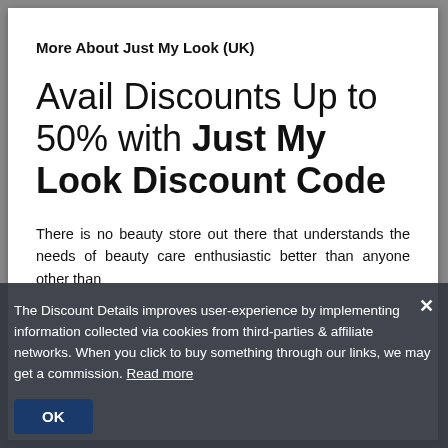More About Just My Look (UK)
Avail Discounts Up to 50% with Just My Look Discount Code
There is no beauty store out there that understands the needs of beauty care enthusiastic better than anyone other than
The Discount Details improves user-experience by implementing information collected via cookies from third-parties & affiliate networks. When you click to buy something through our links, we may get a commission. Read more
satisfactory
an shop from more than 7000 products related to hair, makeup, and skin from their online and physical store. And with offers